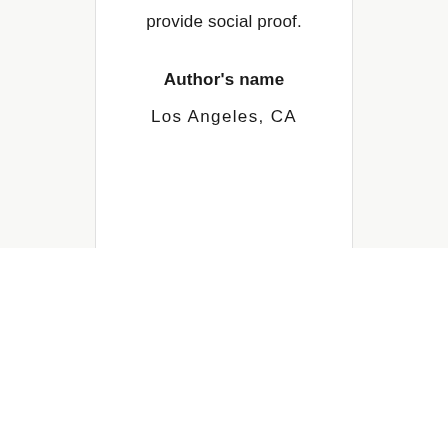provide social proof.
Author's name
Los Angeles, CA